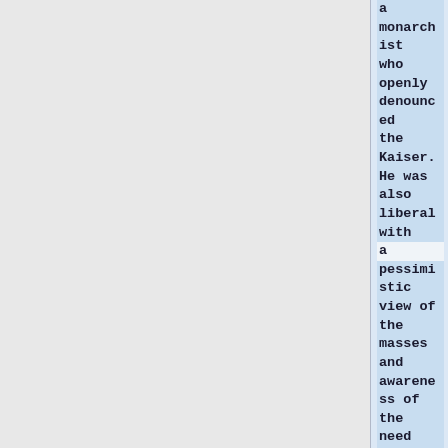a monarchist who openly denounced the Kaiser. He was also liberal with a pessimistic view of the masses and awareness of the need for personal leadership and a passionate individualist faced with the rising forces of collectivism